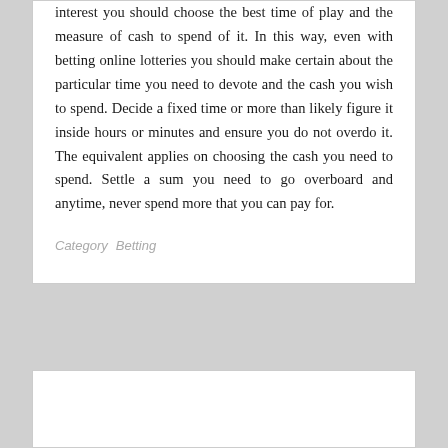interest you should choose the best time of play and the measure of cash to spend of it. In this way, even with betting online lotteries you should make certain about the particular time you need to devote and the cash you wish to spend. Decide a fixed time or more than likely figure it inside hours or minutes and ensure you do not overdo it. The equivalent applies on choosing the cash you need to spend. Settle a sum you need to go overboard and anytime, never spend more that you can pay for.
Category   Betting